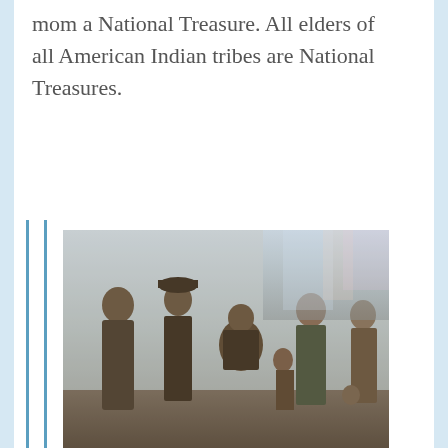mom a National Treasure. All elders of all American Indian tribes are National Treasures.
[Figure (photo): Old black and white photograph of a group of people including grandfather Julius Sombrero, Uncle Delbert, Aunt Bessie, Aunt Nellie holding one of her children, and Flora with two of Nellie's children standing in front of her.]
From L-R: My grandfather Julius Sombrero, Uncle Delbert, Aunt Bessie, Aunt Nellie holding one of her children, my mom Flora with two of Nellie's children standing in front of her